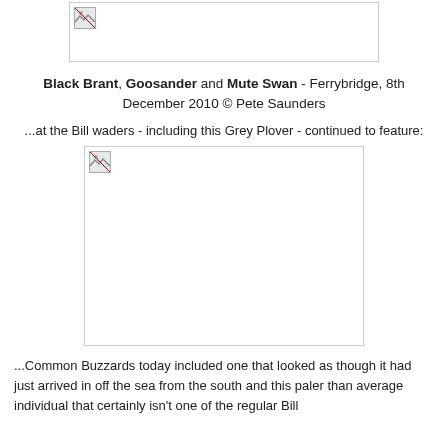[Figure (photo): Broken/missing image placeholder at top of page]
Black Brant, Goosander and Mute Swan - Ferrybridge, 8th December 2010 © Pete Saunders
...at the Bill waders - including this Grey Plover - continued to feature:
[Figure (photo): Broken/missing image placeholder showing Grey Plover]
...Common Buzzards today included one that looked as though it had just arrived in off the sea from the south and this paler than average individual that certainly isn't one of the regular Bill